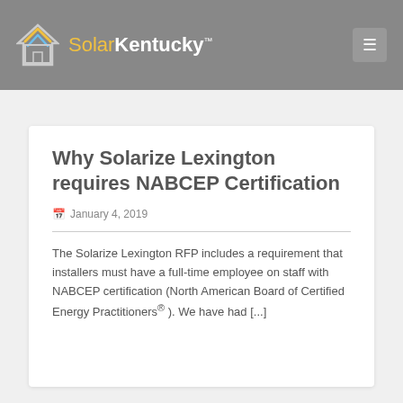SolarKentucky
Why Solarize Lexington requires NABCEP Certification
January 4, 2019
The Solarize Lexington RFP includes a requirement that installers must have a full-time employee on staff with NABCEP certification (North American Board of Certified Energy Practitioners® ). We have had [...]